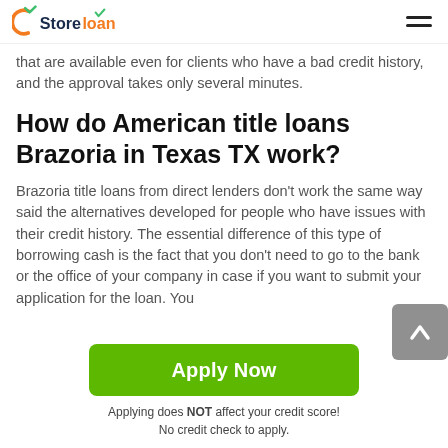Store loan
that are available even for clients who have a bad credit history, and the approval takes only several minutes.
How do American title loans Brazoria in Texas TX work?
Brazoria title loans from direct lenders don't work the same way said the alternatives developed for people who have issues with their credit history. The essential difference of this type of borrowing cash is the fact that you don't need to go to the bank or the office of your company in case if you want to submit your application for the loan. You
Apply Now
Applying does NOT affect your credit score!
No credit check to apply.